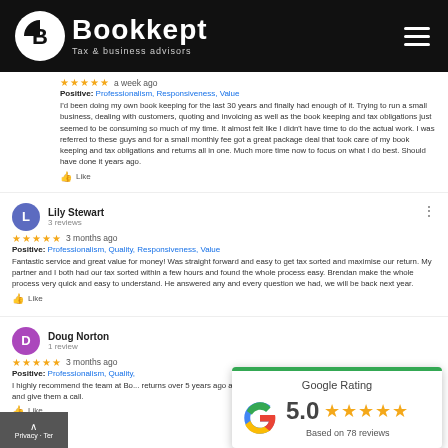[Figure (logo): Bookkept logo — white circle with B letterform, company name 'Bookkept' and tagline 'Tax & business advisors' on black background with hamburger menu icon]
★★★★★  a week ago
Positive: Professionalism, Responsiveness, Value
I'd been doing my own book keeping for the last 30 years and finally had enough of it. Trying to run a small business, dealing with customers, quoting and invoicing as well as the book keeping and tax obligations just seemed to be consuming so much of my time. It almost felt like I didn't have time to do the actual work. I was referred to these guys and for a small monthly fee got a great package deal that took care of my book keeping and tax obligations and returns all in one. Much more time now to focus on what I do best. Should have done it years ago.
👍 Like
Lily Stewart
3 reviews
★★★★★  3 months ago
Positive: Professionalism, Quality, Responsiveness, Value
Fantastic service and great value for money! Was straight forward and easy to get tax sorted and maximise our return. My partner and I both had our tax sorted within a few hours and found the whole process easy. Brendan make the whole process very quick and easy to understand. He answered any and every question we had, we will be back next year.
👍 Like
Doug Norton
1 review
★★★★★  3 months ago
Positive: Professionalism, Quality,
I highly recommend the team at Bo... returns over 5 years ago and he ha... straightforward and easy. Do yourself a favour and give them a call.
👍 Like
[Figure (infographic): Google Rating badge — white card with green top border, Google G logo, rating 5.0 with 5 orange stars, text 'Based on 78 reviews']